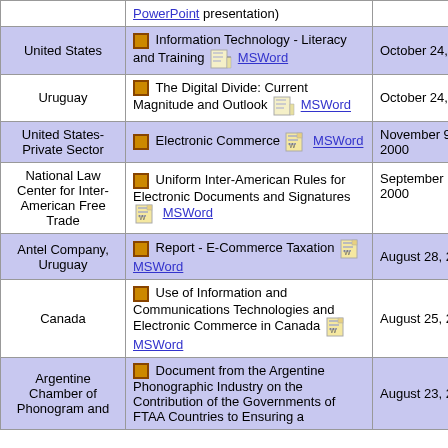| Country/Entity | Document | Date |
| --- | --- | --- |
|  | PowerPoint presentation) |  |
| United States | Information Technology - Literacy and Training [MSWord] | October 24, 2001 |
| Uruguay | The Digital Divide: Current Magnitude and Outlook [MSWord] | October 24, 2001 |
| United States-Private Sector | Electronic Commerce [MSWord] | November 9, 2000 |
| National Law Center for Inter-American Free Trade | Uniform Inter-American Rules for Electronic Documents and Signatures [MSWord] | September 19, 2000 |
| Antel Company, Uruguay | Report - E-Commerce Taxation [MSWord] | August 28, 2000 |
| Canada | Use of Information and Communications Technologies and Electronic Commerce in Canada [MSWord] | August 25, 2000 |
| Argentine Chamber of Phonogram and | Document from the Argentine Phonographic Industry on the Contribution of the Governments of FTAA Countries to Ensuring a | August 23, 2000 |